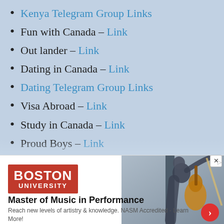Kenya Telegram Group Links
Fun with Canada – Link
Out lander – Link
Dating in Canada – Link
Dating Telegram Group Links
Visa Abroad – Link
Study in Canada – Link
Proud Boys – Link
Singapore Telegram Group Links (partial)
[Figure (photo): Boston University logo (red background, white text) on the left and a musician playing cello/bass on the right, part of an advertisement banner]
Master of Music in Performance
Reach new levels of artistry & knowledge. NASM Accredited - Learn More!